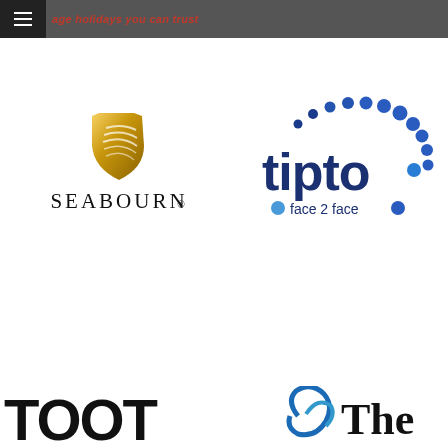age holidays you can trust
[Figure (logo): Seabourn logo with gold shield/wing emblem above SEABOURN text in serif font]
[Figure (logo): tipto face 2 face logo in dark blue with dots arranged in arc above the word tipto and face 2 face tagline below]
[Figure (logo): TOOT partial logo in large bold black letters]
[Figure (logo): The partial logo with blue circular swoosh icon]